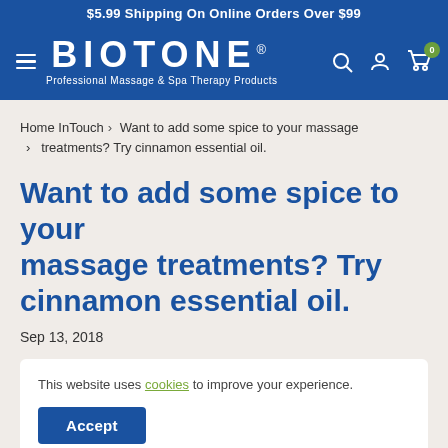$5.99 Shipping On Online Orders Over $99
[Figure (logo): BIOTONE logo with text 'Professional Massage & Spa Therapy Products' on blue background, with hamburger menu, search, account, and cart icons]
Home InTouch > Want to add some spice to your massage treatments? Try cinnamon essential oil.
Want to add some spice to your massage treatments? Try cinnamon essential oil.
Sep 13, 2018
This website uses cookies to improve your experience.